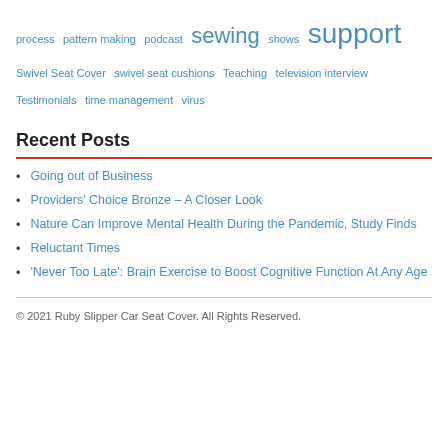process  pattern making  podcast  sewing  shows  support  Swivel Seat Cover  swivel seat cushions  Teaching  television interview  Testimonials  time management  virus
Recent Posts
Going out of Business
Providers' Choice Bronze – A Closer Look
Nature Can Improve Mental Health During the Pandemic, Study Finds
Reluctant Times
'Never Too Late': Brain Exercise to Boost Cognitive Function At Any Age
© 2021 Ruby Slipper Car Seat Cover. All Rights Reserved.